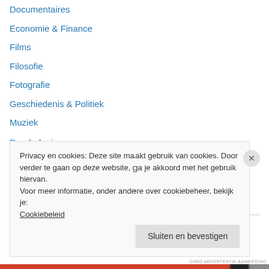Documentaires
Economie & Finance
Films
Filosofie
Fotografie
Geschiedenis & Politiek
Muziek
Psychologie
Schrijven & Journalistiek
Televisie
Wetenschap & Technologie
Privacy en cookies: Deze site maakt gebruik van cookies. Door verder te gaan op deze website, ga je akkoord met het gebruik hiervan. Voor meer informatie, onder andere over cookiebeheer, bekijk je: Cookiebeleid
Sluiten en bevestigen